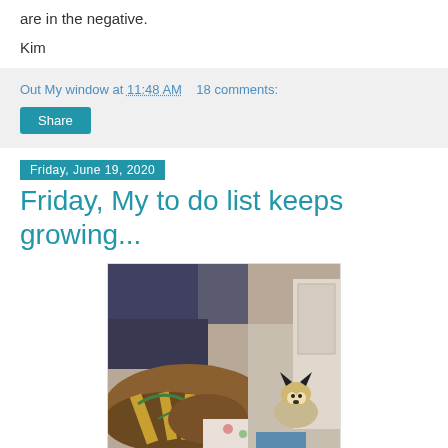are in the negative.
Kim
Out My window at 11:48 AM   18 comments:
Share
Friday, June 19, 2020
Friday, My to do list keeps growing...
[Figure (photo): Indoor photo showing piles of bags, fabric, and items on carpet with a dog (appears to be a Corgi) sitting in the background near a door.]